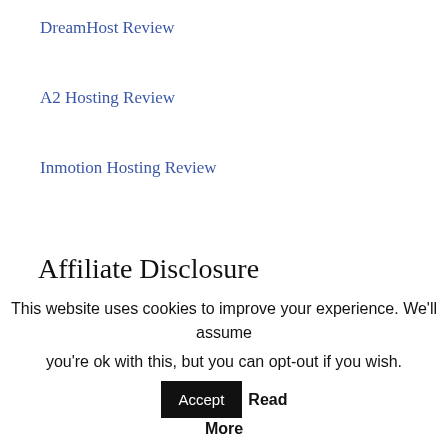DreamHost Review
A2 Hosting Review
Inmotion Hosting Review
Affiliate Disclosure
Some of the links to service or product on this blog are affiliate links. It means, at no extra expense to you, we'll procure a commission on the off chance that you click and purchase any item.
This website uses cookies to improve your experience. We'll assume you're ok with this, but you can opt-out if you wish. Accept Read More